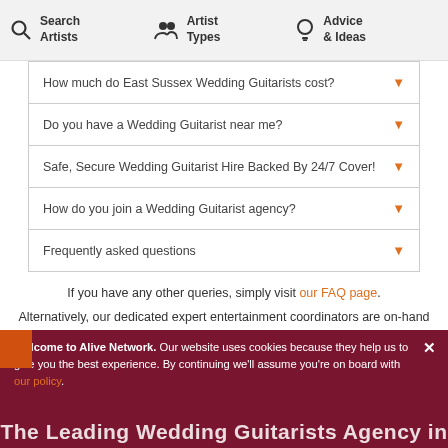Search Artists | Artist Types | Advice & Ideas
How much do East Sussex Wedding Guitarists cost?
Do you have a Wedding Guitarist near me?
Safe, Secure Wedding Guitarist Hire Backed By 24/7 Cover!
How do you join a Wedding Guitarist agency?
Frequently asked questions
If you have any other queries, simply visit our FAQ page.
Alternatively, our dedicated expert entertainment coordinators are on-hand to help. Simply call 0845 108 5500 or email enquiries@alivenetwork.com.
Welcome to Alive Network. Our website uses cookies because they help us to give you the best experience. By continuing we'll assume you're on board with our policy.
The Leading Wedding Guitarists Agency in